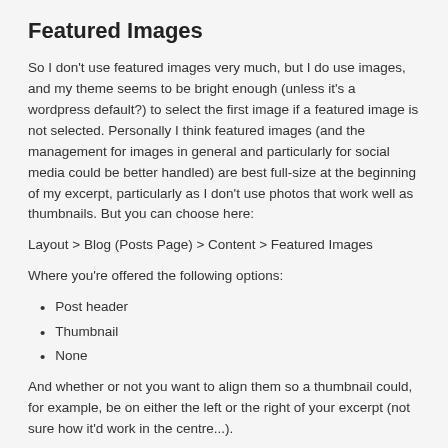Featured Images
So I don't use featured images very much, but I do use images, and my theme seems to be bright enough (unless it's a wordpress default?) to select the first image if a featured image is not selected. Personally I think featured images (and the management for images in general and particularly for social media could be better handled) are best full-size at the beginning of my excerpt, particularly as I don't use photos that work well as thumbnails. But you can choose here:
Layout > Blog (Posts Page) > Content > Featured Images
Where you're offered the following options:
Post header
Thumbnail
None
And whether or not you want to align them so a thumbnail could, for example, be on either the left or the right of your excerpt (not sure how it'd work in the centre...).